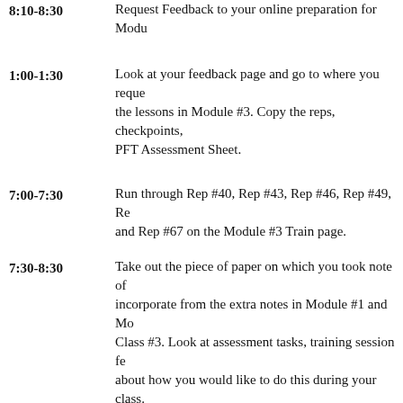8:10-8:30 — Request Feedback to your online preparation for Mod...
1:00-1:30 — Look at your feedback page and go to where you reque... the lessons in Module #3. Copy the reps, checkpoints, PFT Assessment Sheet.
7:00-7:30 — Run through Rep #40, Rep #43, Rep #46, Rep #49, Re... and Rep #67 on the Module #3 Train page.
7:30-8:30 — Take out the piece of paper on which you took note of... incorporate from the extra notes in Module #1 and Mo... Class #3. Look at assessment tasks, training session fe... about how you would like to do this during your class.
8:30-8:35 — Complete and submit the Live Class Checklist for Mod... notebook page.
10:00 — Take out your own piece of paper that you wrote on in... task on today's schedule.
10:30 — Think about what preparation tasks you need to do on...